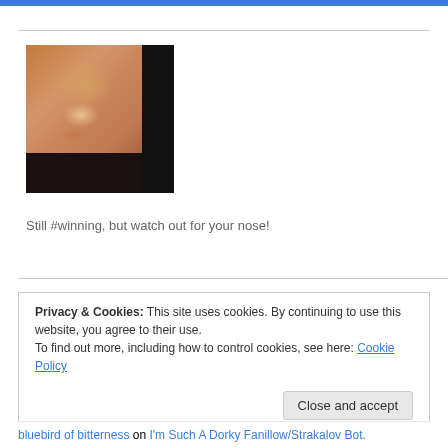[Figure (photo): Portrait photo of a woman with styled red-blonde hair, decorative glasses, and dark patterned clothing, partially overlaid with a black rectangle on the right side]
Still #winning, but watch out for your nose!
Privacy & Cookies: This site uses cookies. By continuing to use this website, you agree to their use.
To find out more, including how to control cookies, see here: Cookie Policy
bluebird of bitterness on I'm Such A Dorky Fanillow/Strakalov Bot.